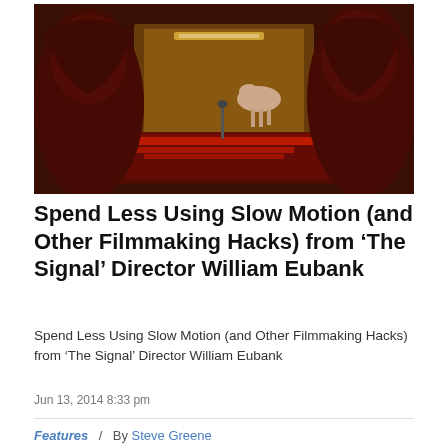[Figure (photo): Two hooded figures in red/dark clothing seen from behind, working at a control panel with red buttons and displays. The background shows a bright yellow-lit room with a white animal (likely a horse or deer) visible through glass.]
Spend Less Using Slow Motion (and Other Filmmaking Hacks) from ‘The Signal’ Director William Eubank
Spend Less Using Slow Motion (and Other Filmmaking Hacks) from ‘The Signal’ Director William Eubank
Jun 13, 2014 8:33 pm
Features  /  By Steve Greene